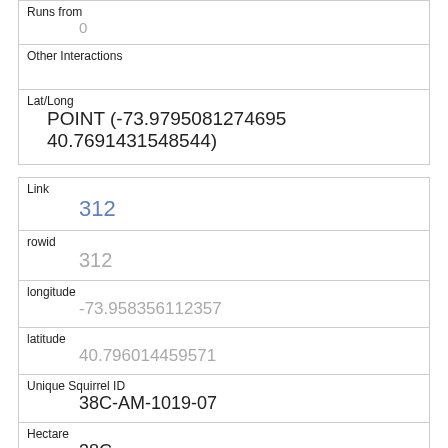Runs from
0
Other Interactions
Lat/Long
POINT (-73.9795081274695 40.7691431548544)
Link
312
rowid
312
longitude
-73.958356112357
latitude
40.796014459571
Unique Squirrel ID
38C-AM-1019-07
Hectare
38C
Shift
AM